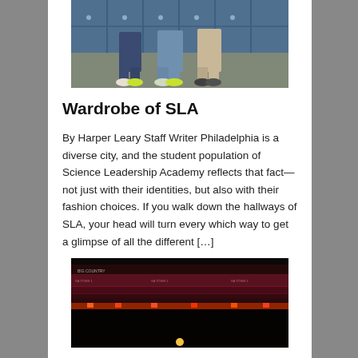[Figure (photo): Photo of students standing in front of blue school lockers, showing their lower bodies and fashion choices]
Wardrobe of SLA
By Harper Leary Staff Writer Philadelphia is a diverse city, and the student population of Science Leadership Academy reflects that fact— not just with their identities, but also with their fashion choices. If you walk down the hallways of SLA, your head will turn every which way to get a glimpse of all the different […]
[Figure (photo): Photo of a concert arena with crowds, stage lighting with red and orange lights, and a bright spotlight on stage]